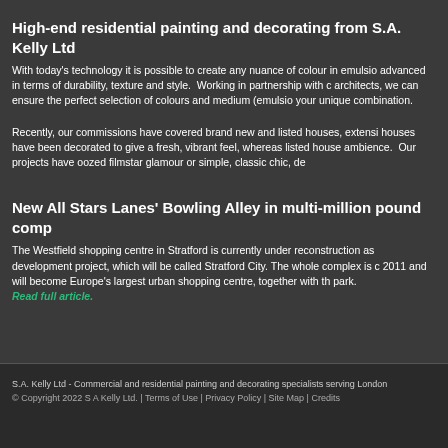High-end residential painting and decorating from S.A. Kelly Ltd
With today's technology it is possible to create any nuance of colour in emulsion advanced in terms of durability, texture and style.  Working in partnership with architects, we can ensure the perfect selection of colours and medium (emulsio your unique combination.
Recently, our commissions have covered brand new and listed houses, extensi houses have been decorated to give a fresh, vibrant feel, whereas listed house ambience.  Our projects have oozed filmstar glamour or simple, classic chic, de
New All Stars Lanes' Bowling Alley in multi-million pound comp
The Westfield shopping centre in Stratford is currently under reconstruction as development project, which will be called Stratford City. The whole complex is 2011 and will become Europe's largest urban shopping centre, together with th park.
Read full article.
S.A. Kelly Ltd - Commercial and residential painting and decorating specialists serving London © Copyright 2022 S A Kelly Ltd. | Terms of Use | Privacy Policy | Site Map | Credits